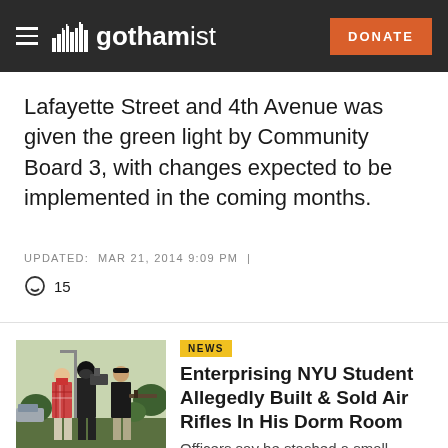gothamist — DONATE
Lafayette Street and 4th Avenue was given the green light by Community Board 3, with changes expected to be implemented in the coming months.
UPDATED: MAR 21, 2014 9:09 PM |
15
[Figure (photo): Three people standing outdoors, two appear to be holding equipment, one in plaid shirt]
NEWS
Enterprising NYU Student Allegedly Built & Sold Air Rifles In His Dorm Room
Officers say he stashed a small